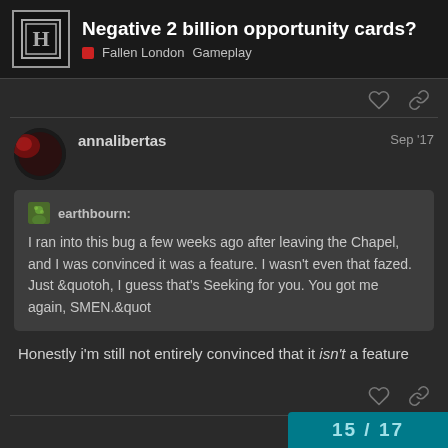Negative 2 billion opportunity cards? | Fallen London Gameplay
annalibertas  Sep '17
earthbourn: I ran into this bug a few weeks ago after leaving the Chapel, and I was convinced it was a feature. I wasn't even that fazed. Just &quotoh, I guess that's Seeking for you. You got me again, SMEN.&quot
Honestly i'm still not entirely convinced that it isn't a feature
15 / 17